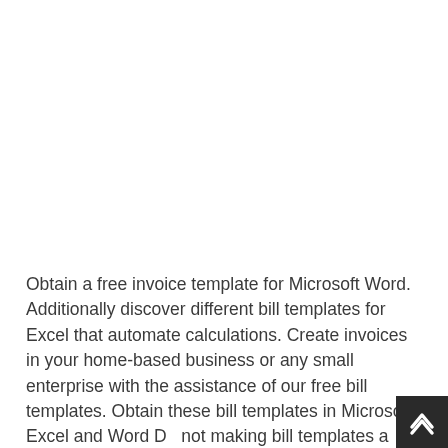Obtain a free invoice template for Microsoft Word. Additionally discover different bill templates for Excel that automate calculations. Create invoices in your home-based business or any small enterprise with the assistance of our free bill templates. Obtain these bill templates in Microsoft Excel and Word Do not making bill templates a supply of ache and fear